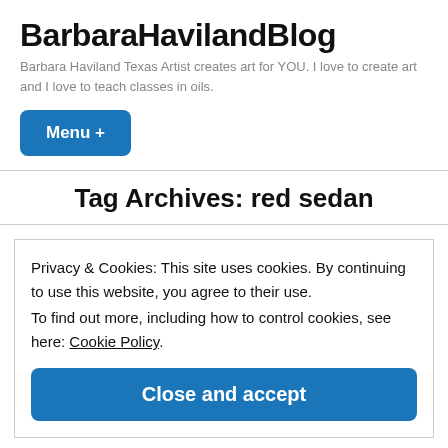BarbaraHavilandBlog
Barbara Haviland Texas Artist creates art for YOU. I love to create art and I love to teach classes in oils.
Menu +
Tag Archives: red sedan
Privacy & Cookies: This site uses cookies. By continuing to use this website, you agree to their use.
To find out more, including how to control cookies, see here: Cookie Policy
Close and accept
Haviland